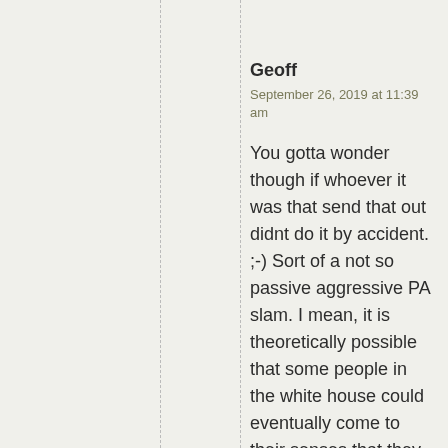Geoff
September 26, 2019 at 11:39 am
You gotta wonder though if whoever it was that send that out didnt do it by accident. ;-) Sort of a not so passive aggressive PA slam. I mean, it is theoretically possible that some people in the white house could eventually come to their senses that they work for a mob